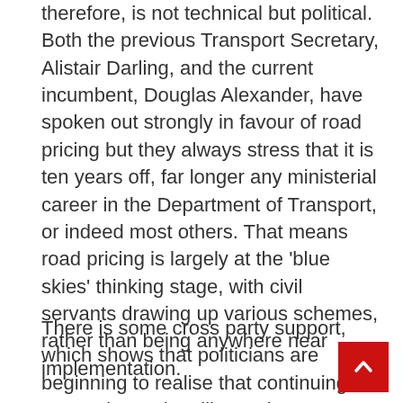therefore, is not technical but political. Both the previous Transport Secretary, Alistair Darling, and the current incumbent, Douglas Alexander, have spoken out strongly in favour of road pricing but they always stress that it is ten years off, far longer any ministerial career in the Department of Transport, or indeed most others. That means road pricing is largely at the 'blue skies' thinking stage, with civil servants drawing up various schemes, rather than being anywhere near implementation.
There is some cross party support, which shows that politicians are beginning to realise that continuing as we are is, as they like saying, 'not an option'.  Alistair Carmichael, the Libdem spokesman on transport, who represents Orkney & Shetland – one of the most